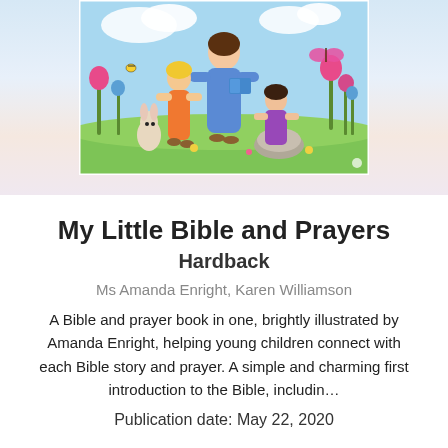[Figure (illustration): Colorful children's book cover illustration showing two children and Jesus in a bright meadow with flowers, a butterfly, and a rabbit. One child wears an orange dress, another wears purple, and a figure in blue holds a book. Background has sky and green grass.]
My Little Bible and Prayers
Hardback
Ms Amanda Enright, Karen Williamson
A Bible and prayer book in one, brightly illustrated by Amanda Enright, helping young children connect with each Bible story and prayer. A simple and charming first introduction to the Bible, includin…
Publication date: May 22, 2020